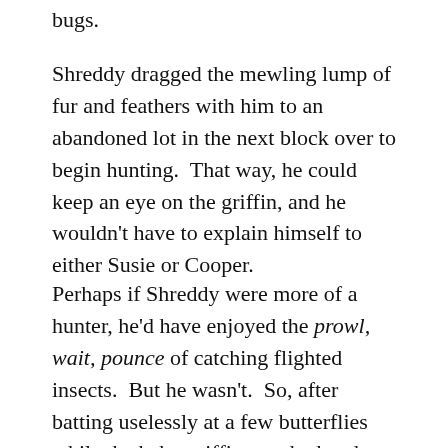bugs.
Shreddy dragged the mewling lump of fur and feathers with him to an abandoned lot in the next block over to begin hunting.  That way, he could keep an eye on the griffin, and he wouldn't have to explain himself to either Susie or Cooper.
Perhaps if Shreddy were more of a hunter, he'd have enjoyed the prowl, wait, pounce of catching flighted insects.  But he wasn't.  So, after batting uselessly at a few butterflies while the baby griffin watched and mewled, Shreddy realized he'd need a better strategy.  The griffin's mewling had taken on a hopeless, despairing tone. Shreddy had...